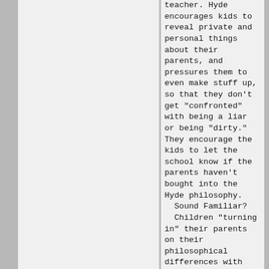teacher. Hyde encourages kids to reveal private and personal things about their parents, and pressures them to even make stuff up, so that they don't get "confronted" with being a liar or being "dirty."  They encourage the kids to let the school know if the parents haven't bought into the Hyde philosophy.  Sound Familiar?  Children "turning in" their parents on their philosophical differences with the Party?   Then they put on a full court press the likes of which would impress the Moonies.   I have some letters written to us from the administration at Hyde that are so classic of cult pressure tactics that I can't believe they put this stuff in writing.